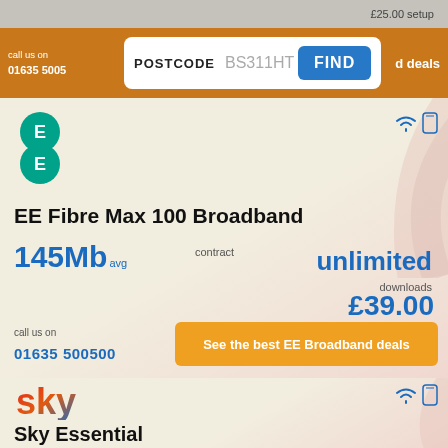£25.00 setup
call us on 01635 500500
POSTCODE  BS311HT
FIND
d deals
[Figure (logo): EE logo — two overlapping green circles each with letter E]
EE Fibre Max 100 Broadband
145Mb avg
contract
unlimited
downloads
£39.00
FREE setup
call us on
01635 500500
See the best EE Broadband deals
[Figure (logo): Sky logo in red, orange and blue gradient text]
Sky Essential